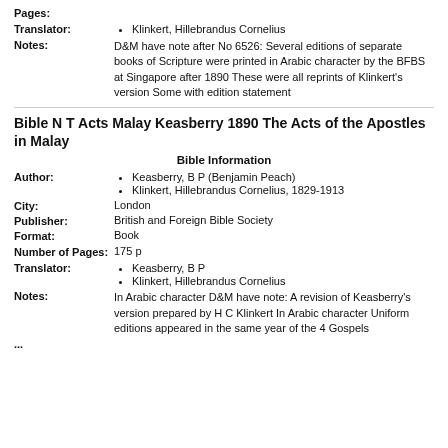Pages:
Translator: Klinkert, Hillebrandus Cornelius
Notes: D&M have note after No 6526: Several editions of separate books of Scripture were printed in Arabic character by the BFBS at Singapore after 1890 These were all reprints of Klinkert's version Some with edition statement
Bible N T Acts Malay Keasberry 1890 The Acts of the Apostles in Malay
Bible Information
Author: Keasberry, B P (Benjamin Peach); Klinkert, Hillebrandus Cornelius, 1829-1913
City: London
Publisher: British and Foreign Bible Society
Format: Book
Number of Pages: 175 p
Translator: Keasberry, B P; Klinkert, Hillebrandus Cornelius
Notes: In Arabic character D&M have note: A revision of Keasberry's version prepared by H C Klinkert In Arabic character Uniform editions appeared in the same year of the 4 Gospels
...